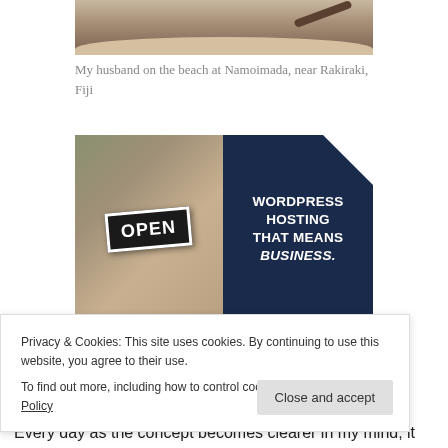[Figure (photo): Partial photo showing a beach scene — sand, a branch or driftwood, sepia tones. Only the bottom portion of the image is visible.]
My husband on the beach at Namoimada, near Rakiraki, Fiji
[Figure (photo): Advertisement image: left half shows a smiling woman holding an OPEN sign in a shop; right half is a dark navy background with white bold text reading WORDPRESS HOSTING THAT MEANS BUSINESS.]
Privacy & Cookies: This site uses cookies. By continuing to use this website, you agree to their use.
To find out more, including how to control cookies, see here: Cookie Policy
Every day as the concept becomes clearer in my mind, it